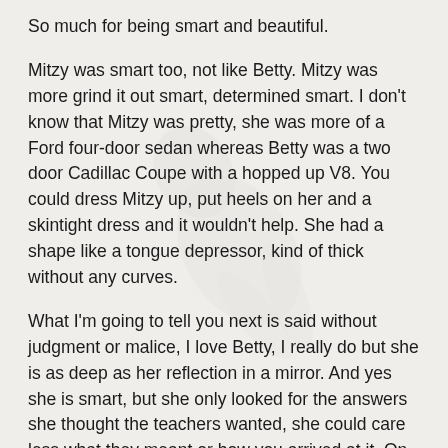So much for being smart and beautiful.
Mitzy was smart too, not like Betty. Mitzy was more grind it out smart, determined smart. I don't know that Mitzy was pretty, she was more of a Ford four-door sedan whereas Betty was a two door Cadillac Coupe with a hopped up V8. You could dress Mitzy up, put heels on her and a skintight dress and it wouldn't help. She had a shape like a tongue depressor, kind of thick without any curves.
What I'm going to tell you next is said without judgment or malice, I love Betty, I really do but she is as deep as her reflection in a mirror. And yes she is smart, but she only looked for the answers she thought the teachers wanted, she could care less what they meant or how you arrived at it. On the other hand Mitzy was as deep as the ocean. She was inquisitive, she knew shit, not just answers.